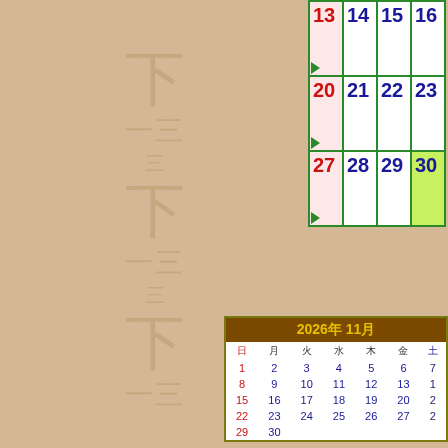[Figure (other): Partial monthly calendar showing dates 13-30 in a grid layout with Sunday dates (13,20,27) in pink background and red numerals, date 30 in green background, with green triangle markers on rows. A mini November 2026 calendar is shown in the bottom right.]
| Sun | Mon | Tue | Wed |
| --- | --- | --- | --- |
| 13 | 14 | 15 | 16 |
| 20 | 21 | 22 | 23 |
| 27 | 28 | 29 | 30 |